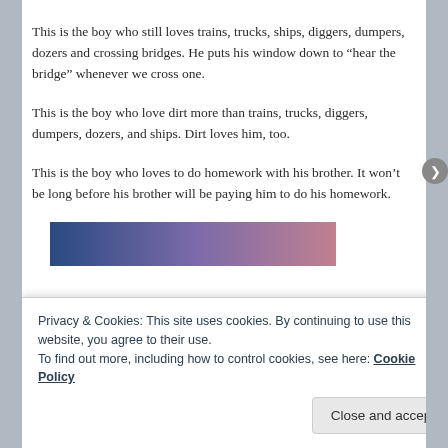This is the boy who still loves trains, trucks, ships, diggers, dumpers, dozers and crossing bridges. He puts his window down to “hear the bridge” whenever we cross one.
This is the boy who love dirt more than trains, trucks, diggers, dumpers, dozers, and ships. Dirt loves him, too.
This is the boy who loves to do homework with his brother. It won’t be long before his brother will be paying him to do his homework.
[Figure (other): A horizontal gradient bar transitioning from dark blue on the left through purple to muted rose/pink on the right.]
Privacy & Cookies: This site uses cookies. By continuing to use this website, you agree to their use.
To find out more, including how to control cookies, see here: Cookie Policy